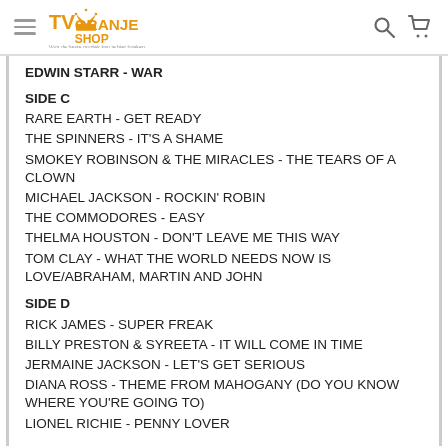TV Oranje Shop
EDWIN STARR - WAR
SIDE C
RARE EARTH - GET READY
THE SPINNERS - IT'S A SHAME
SMOKEY ROBINSON & THE MIRACLES - THE TEARS OF A CLOWN
MICHAEL JACKSON - ROCKIN' ROBIN
THE COMMODORES - EASY
THELMA HOUSTON - DON'T LEAVE ME THIS WAY
TOM CLAY - WHAT THE WORLD NEEDS NOW IS LOVE/ABRAHAM, MARTIN AND JOHN
SIDE D
RICK JAMES - SUPER FREAK
BILLY PRESTON & SYREETA - IT WILL COME IN TIME
JERMAINE JACKSON - LET'S GET SERIOUS
DIANA ROSS - THEME FROM MAHOGANY (DO YOU KNOW WHERE YOU'RE GOING TO)
LIONEL RICHIE - PENNY LOVER